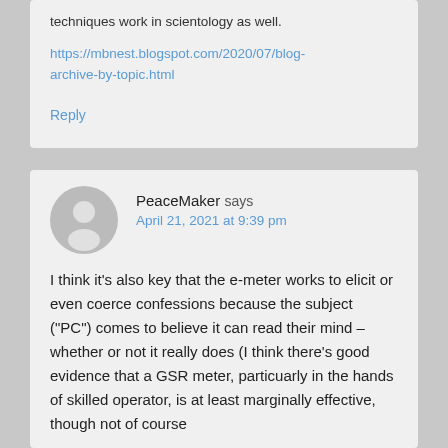techniques work in scientology as well.
https://mbnest.blogspot.com/2020/07/blog-archive-by-topic.html
Reply
PeaceMaker says
April 21, 2021 at 9:39 pm
I think it’s also key that the e-meter works to elicit or even coerce confessions because the subject (“PC”) comes to believe it can read their mind – whether or not it really does (I think there’s good evidence that a GSR meter, particuarly in the hands of skilled operator, is at least marginally effective, though not of course